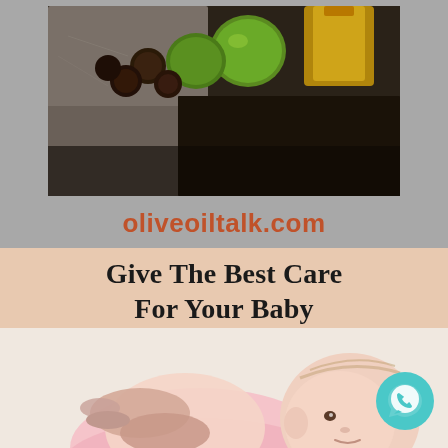[Figure (photo): Dark moody photo of olive oil in a glass container with green limes and dark round olives on a stone/marble surface]
oliveoiltalk.com
[Figure (photo): Photo of a baby lying on its back in a pink outfit being gently massaged or wiped by adult hands, light background]
Give The Best Care For Your Baby
BABYWETWIPE.COM
[Figure (logo): WhatsApp logo icon: teal/cyan circle with white telephone handset in speech bubble]